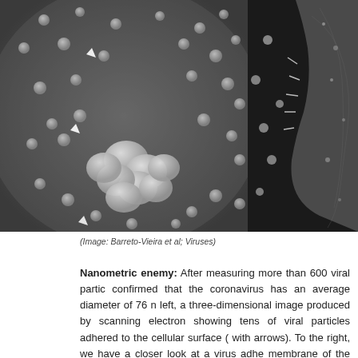[Figure (photo): Two electron microscopy images side by side. Left: scanning electron microscopy image showing tens of viral particles (coronavirus) adhered to a cellular surface, with some particles indicated by arrows. The image is three-dimensional in appearance with gray tones. Right: transmission electron microscopy image showing a closer view of a coronavirus adhered to a cell membrane, darker image showing the slice plane.]
(Image: Barreto-Vieira et al; Viruses)
Nanometric enemy: After measuring more than 600 viral particles, confirmed that the coronavirus has an average diameter of 76 n left, a three-dimensional image produced by scanning electron showing tens of viral particles adhered to the cellular surface ( with arrows). To the right, we have a closer look at a virus adhe membrane of the cell. The image produced through transmissi microscopy shows a slice plane of the image. We can see the s naming of the coronavirus, as they look like a crown.